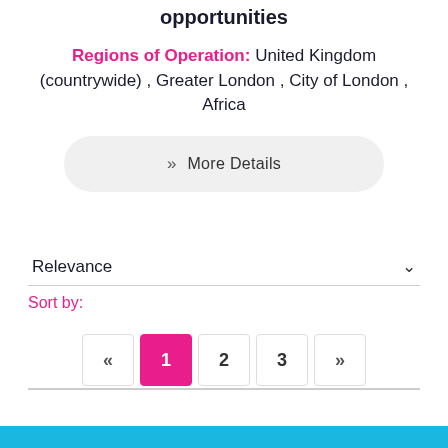opportunities
Regions of Operation: United Kingdom (countrywide) , Greater London , City of London , Africa
» More Details
Relevance
Sort by:
« 1 2 3 »